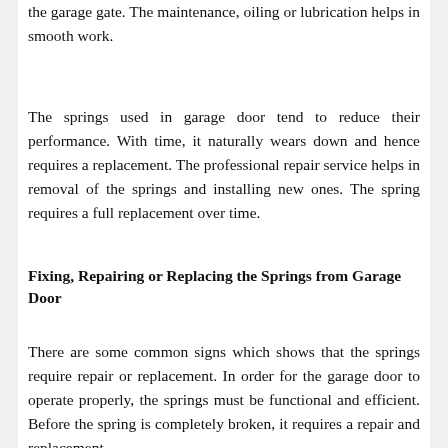the garage gate. The maintenance, oiling or lubrication helps in smooth work.
The springs used in garage door tend to reduce their performance. With time, it naturally wears down and hence requires a replacement. The professional repair service helps in removal of the springs and installing new ones. The spring requires a full replacement over time.
Fixing, Repairing or Replacing the Springs from Garage Door
There are some common signs which shows that the springs require repair or replacement. In order for the garage door to operate properly, the springs must be functional and efficient. Before the spring is completely broken, it requires a repair and replacement